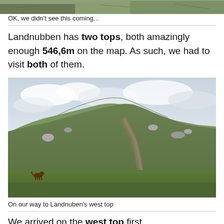[Figure (photo): Partial top of a photo showing vegetation and rocky landscape, cropped at the top of the page]
OK, we didn’t see this coming...
Landnubben has two tops, both amazingly enough 546,6m on the map. As such, we had to visit both of them.
[Figure (photo): Hillside mountain landscape with green grassy slopes, rocky outcrops, and a dog in the foreground lower left. Cloudy sky above.]
On our way to Landnuben’s west top
We arrived on the west top first